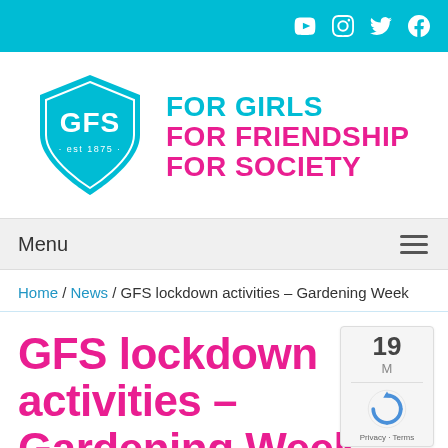Social media icons: YouTube, Instagram, Twitter, Facebook
[Figure (logo): GFS shield logo with text 'FOR GIRLS FOR FRIENDSHIP FOR SOCIETY']
Menu
Home / News / GFS lockdown activities – Gardening Week
GFS lockdown activities – Gardening Week
19